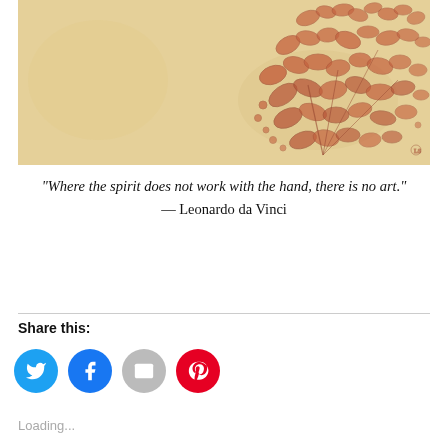[Figure (illustration): A Leonardo da Vinci red-chalk sketch of flowers and foliage on aged parchment-colored paper, showing intricate botanical drawings of blooms and leaves.]
“Where the spirit does not work with the hand, there is no art.” — Leonardo da Vinci
Share this:
Loading...